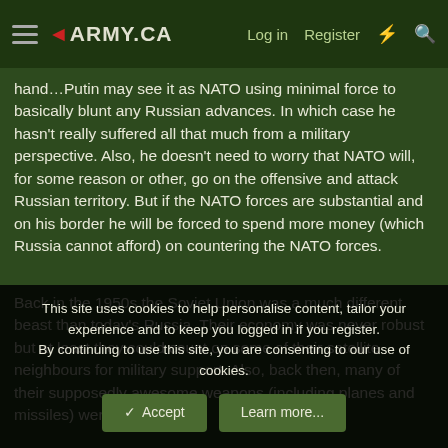◄ARMY.CA  Log in  Register
hand…Putin may see it as NATO using minimal force to basically blunt any Russian advances. In which case he hasn't really suffered all that much from a military perspective. Also, he doesn't need to worry that NATO will, for some reason or other, go on the offensive and attack Russian territory. But if the NATO forces are substantial and on his border he will be forced to spend more money (which Russia cannot afford) on countering the NATO forces.
Back in the 1950s the Soviet Union was a much different beast than today's Russia. Their economy was never robust but at least they could count on some of their satellite neighbours for military support. Also, back then, many of their supposedly awesome weapons (including planes and missiles) were more
This site uses cookies to help personalise content, tailor your experience and to keep you logged in if you register.
By continuing to use this site, you are consenting to our use of cookies.